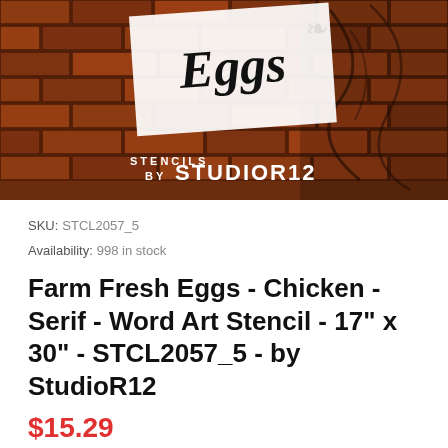[Figure (photo): Product hero image showing a brick wall background with a white card displaying 'Eggs' in serif font, and text 'STENCILS BY STUDIOR12' overlaid on the brick wall]
SKU: STCL2057_5
Availability: 998 in stock
Farm Fresh Eggs - Chicken - Serif - Word Art Stencil - 17" x 30" - STCL2057_5 - by StudioR12
$15.29